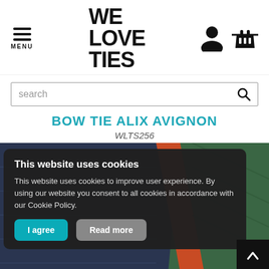[Figure (logo): WE LOVE TIES logo in bold black uppercase text]
search
BOW TIE ALIX AVIGNON
WLTS256
[Figure (photo): Knitted bow tie in navy blue, orange and green colors]
This website uses cookies
This website uses cookies to improve user experience. By using our website you consent to all cookies in accordance with our Cookie Policy.
I agree
Read more